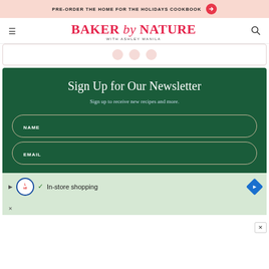PRE-ORDER THE HOME FOR THE HOLIDAYS COOKBOOK →
[Figure (logo): Baker by Nature with Ashley Manila logo in red/pink serif and script font]
[Figure (infographic): Social media icons row (three pink circles)]
Sign Up for Our Newsletter
Sign up to receive new recipes and more.
NAME
EMAIL
[Figure (screenshot): Lidl In-store shopping advertisement banner]